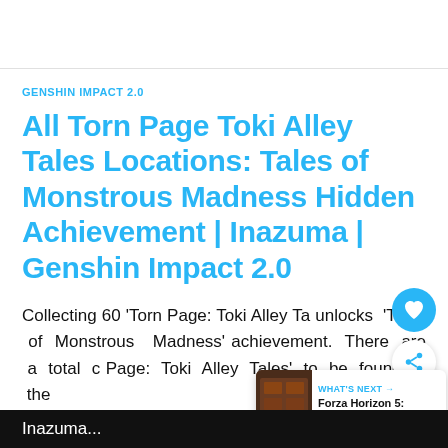GENSHIN IMPACT 2.0
All Torn Page Toki Alley Tales Locations: Tales of Monstrous Madness Hidden Achievement | Inazuma | Genshin Impact 2.0
Collecting 60 'Torn Page: Toki Alley Ta… unlocks 'Tales of Monstrous Madness' achievement. There are a total c… Page: Toki Alley Tales' to be found in the
Inazuma...